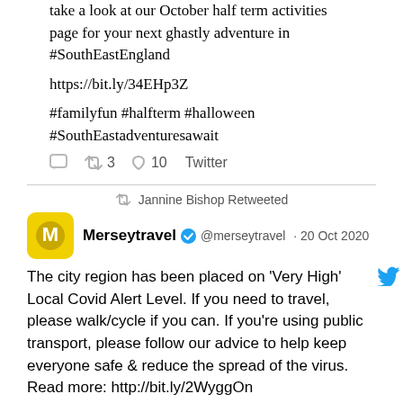take a look at our October half term activities page for your next ghastly adventure in #SouthEastEngland

https://bit.ly/34EHp3Z

#familyfun #halfterm #halloween #SouthEastadventuresawait
3  10  Twitter
Jannine Bishop Retweeted
Merseytravel @merseytravel · 20 Oct 2020
The city region has been placed on 'Very High' Local Covid Alert Level. If you need to travel, please walk/cycle if you can. If you're using public transport, please follow our advice to help keep everyone safe & reduce the spread of the virus. Read more: http://bit.ly/2WyggOn